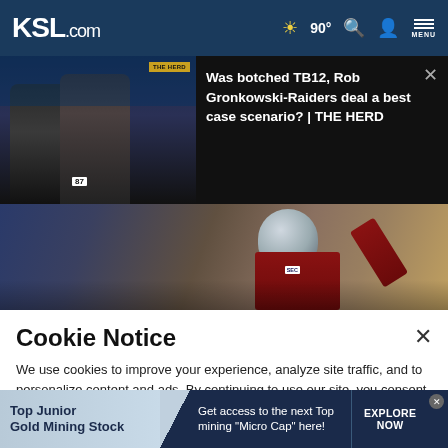KSL.com — 90° weather, search, account, menu
[Figure (screenshot): Video thumbnail showing two Tampa Bay Buccaneers football players (Tom Brady and Rob Gronkowski #87) in dark uniforms with THE HERD badge overlay]
Was botched TB12, Rob Gronkowski-Raiders deal a best case scenario? | THE HERD
[Figure (photo): Alabama football player in red uniform and silver helmet celebrating, arm raised, with SEC patch visible]
Cookie Notice
We use cookies to improve your experience, analyze site traffic, and to personalize content and ads. By continuing to use our site, you consent to our use of cookies. Please visit our Terms of Use and Privacy Policy for more information
[Figure (infographic): Ad banner: Top Junior Gold Mining Stock — Get access to the next Top mining "Micro Cap" here! — EXPLORE NOW]